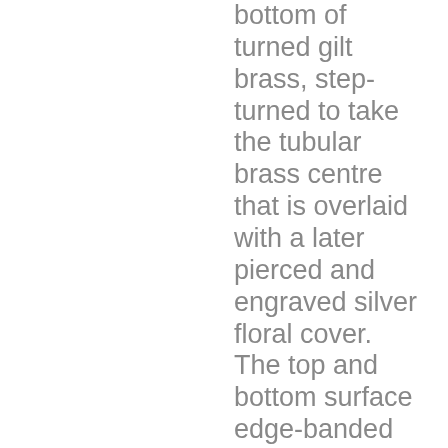bottom of turned gilt brass, step-turned to take the tubular brass centre that is overlaid with a later pierced and engraved silver floral cover. The top and bottom surface edge-banded with floral and foliate engraving